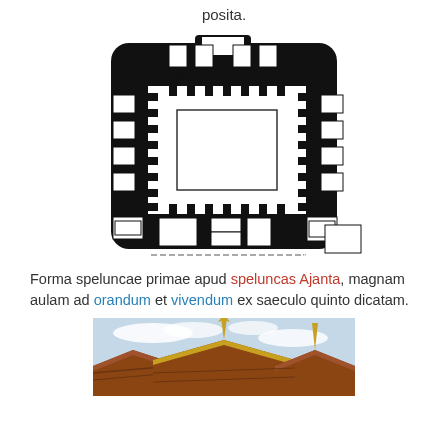posita.
[Figure (engineering-diagram): Floor plan of Ajanta Cave 1 (Ajanta Höhle 1) — architectural plan view showing a square hall with surrounding cells, columns, and entrance vestibule, rendered in black and white with a scale bar below.]
Forma speluncae primae apud speluncas Ajanta, magnam aulam ad orandum et vivendum ex saeculo quinto dicatam.
[Figure (photo): Photograph showing ornate temple rooftops with gilded finials against a cloudy sky, partially visible at bottom of page.]